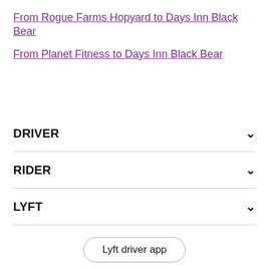From Rogue Farms Hopyard to Days Inn Black Bear
From Planet Fitness to Days Inn Black Bear
DRIVER
RIDER
LYFT
Lyft driver app